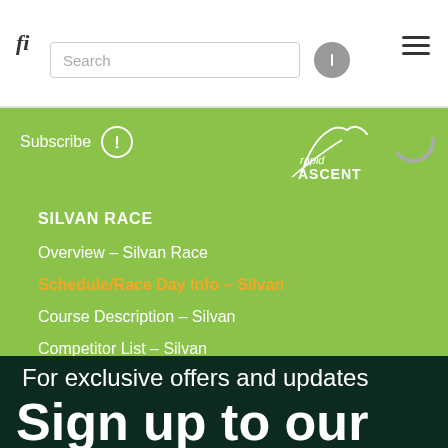fi | Search | (hamburger menu)
Subscribe
[Figure (logo): Rapid Ascent logo in white on green background]
SILVAN RACE
Overview – Silvan Race
Schedule/Race Day Info – Silvan
Course Description – Silvan
Competitor List – Silvan
For exclusive offers and updates
Sign up to our